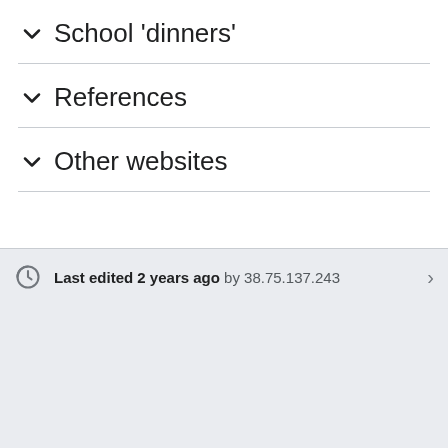School 'dinners'
References
Other websites
Last edited 2 years ago by 38.75.137.243